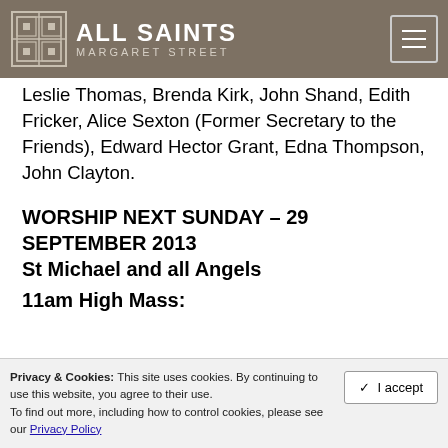ALL SAINTS MARGARET STREET
Leslie Thomas, Brenda Kirk, John Shand, Edith Fricker, Alice Sexton (Former Secretary to the Friends), Edward Hector Grant, Edna Thompson, John Clayton.
WORSHIP NEXT SUNDAY – 29 SEPTEMBER 2013
St Michael and all Angels
11am High Mass:
Privacy & Cookies: This site uses cookies. By continuing to use this website, you agree to their use. To find out more, including how to control cookies, please see our Privacy Policy